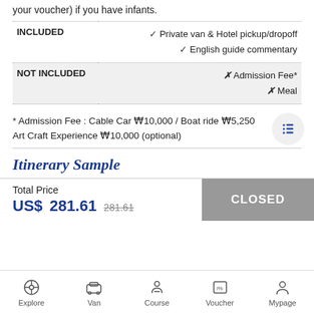your voucher) if you have infants.
|  |  |
| --- | --- |
| INCLUDED | ✓ Private van & Hotel pickup/dropoff
✓ English guide commentary |
| NOT INCLUDED | ✗ Admission Fee*
✗ Meal |
* Admission Fee : Cable Car ₩10,000 / Boat ride ₩5,250
Art Craft Experience ₩10,000 (optional)
Itinerary Sample
Total Price
US$ 281.61  281.61
CLOSED